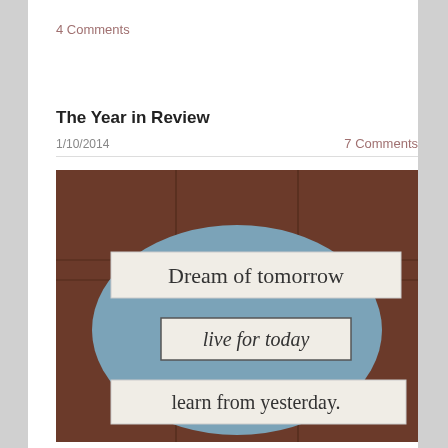4 Comments
The Year in Review
1/10/2014
7 Comments
[Figure (photo): A decorative wooden sign mounted on a brown door, featuring a blue oval background. Three white banner plaques display the text: 'Dream of tomorrow', 'live for today', and 'learn from yesterday.']